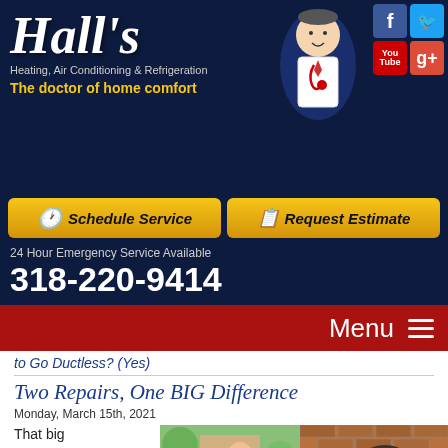[Figure (logo): Hall's Heating, Air Conditioning & Refrigeration logo with cartoon doctor mascot character and dark navy background]
Schedule Service
Request Estimate
24 Hour Emergency Service Available
318-220-9414
Menu
to Go Ductless? (Yes)
Two Repairs, One BIG Difference
Monday, March 15th, 2021
That big...ce money in
[Figure (photo): Photo of HVAC technician smiling at door of brick house, partially cropped. reCAPTCHA overlay in bottom left.]